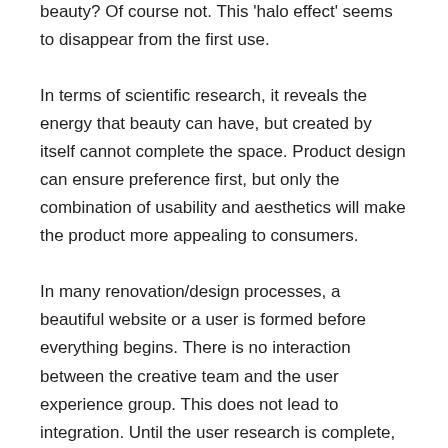beauty? Of course not. This 'halo effect' seems to disappear from the first use.
In terms of scientific research, it reveals the energy that beauty can have, but created by itself cannot complete the space. Product design can ensure preference first, but only the combination of usability and aesthetics will make the product more appealing to consumers.
In many renovation/design processes, a beautiful website or a user is formed before everything begins. There is no interaction between the creative team and the user experience group. This does not lead to integration. Until the user research is complete, how will the designer know the constraints they are working on? How can you incorporate the most user-friendly search into your design without pretending that all instructions must be followed at once?
Must have a working relationship between design and user